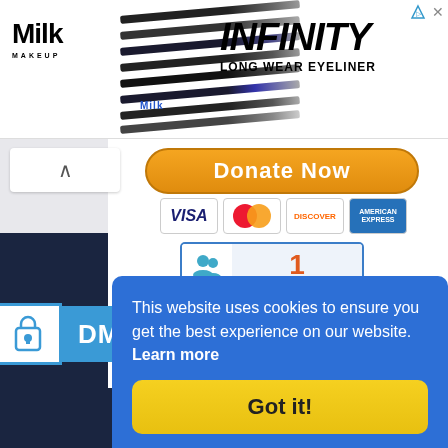[Figure (screenshot): Advertisement banner for Milk Makeup INFINITY LONG WEAR EYELINER showing eyeliner pencils on left and brand text on right]
[Figure (screenshot): Donate Now button with orange rounded rectangle styling]
[Figure (screenshot): Payment card icons: Visa, Mastercard, Discover, American Express]
[Figure (screenshot): Social share counter showing 1 share with user icon in blue border box]
[Figure (screenshot): DMCA Protected badge with lock icon]
This website uses cookies to ensure you get the best experience on our website.  Learn more
[Figure (screenshot): Got it! cookie consent button in yellow]